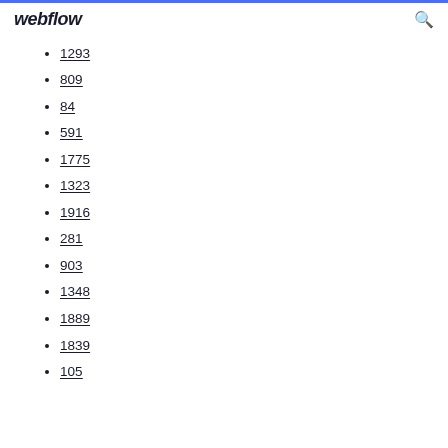webflow
1293
809
84
591
1775
1323
1916
281
903
1348
1889
1839
105